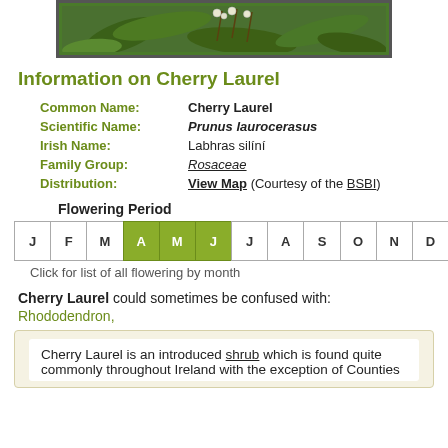[Figure (photo): Close-up photo of Cherry Laurel plant with green leaves and small white flower buds on branches]
Information on Cherry Laurel
| Common Name: | Cherry Laurel |
| Scientific Name: | Prunus laurocerasus |
| Irish Name: | Labhras silíní |
| Family Group: | Rosaceae |
| Distribution: | View Map (Courtesy of the BSBI) |
Flowering Period
[Figure (infographic): Flowering period calendar showing months J F M A M J J A S O N D with April, May, June highlighted in green]
Click for list of all flowering by month
Cherry Laurel could sometimes be confused with:
Rhododendron,
Cherry Laurel is an introduced shrub which is found quite commonly throughout Ireland with the exception of Counties...